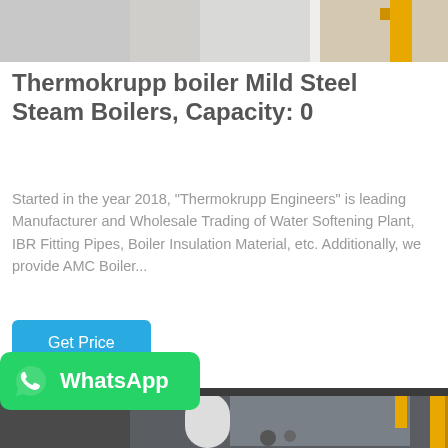[Figure (photo): Top portion of an industrial boiler/equipment in a facility, partially visible at top of page]
Thermokrupp boiler Mild Steel Steam Boilers, Capacity: 0
Started in the year 2018, "Thermokrupp Engineers" is leading Manufacturer and Wholesale Trading of Water Softening Plant, IBR Fitting Pipes, Boiler Insulation Material, etc. Additionally, we provide AMC Boiler...
[Figure (other): Get Price button - blue rounded rectangle with white text]
[Figure (photo): Industrial boiler room showing large cylindrical steam boilers with yellow gas pipes, equipment in background]
[Figure (logo): WhatsApp badge - green rounded rectangle with WhatsApp phone icon and 'WhatsApp' text in white]